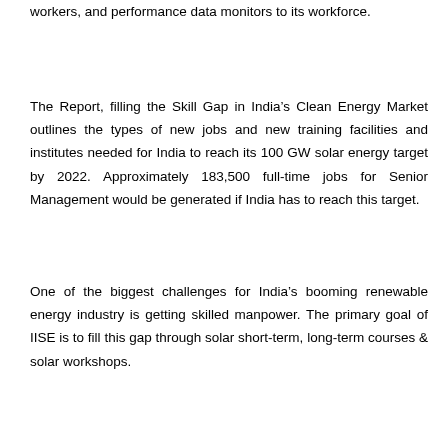workers, and performance data monitors to its workforce.
The Report, filling the Skill Gap in India’s Clean Energy Market outlines the types of new jobs and new training facilities and institutes needed for India to reach its 100 GW solar energy target by 2022. Approximately 183,500 full-time jobs for Senior Management would be generated if India has to reach this target.
One of the biggest challenges for India’s booming renewable energy industry is getting skilled manpower. The primary goal of IISE is to fill this gap through solar short-term, long-term courses & solar workshops.